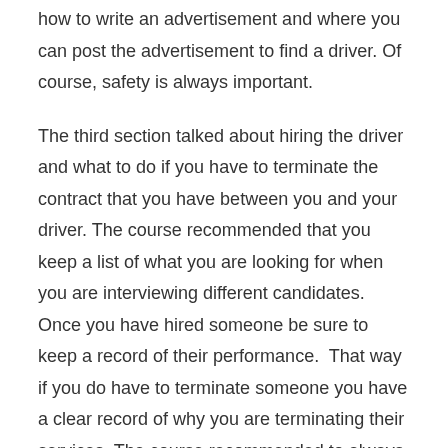how to write an advertisement and where you can post the advertisement to find a driver. Of course, safety is always important.
The third section talked about hiring the driver and what to do if you have to terminate the contract that you have between you and your driver. The course recommended that you keep a list of what you are looking for when you are interviewing different candidates. Once you have hired someone be sure to keep a record of their performance.  That way if you do have to terminate someone you have a clear record of why you are terminating their services. The course recommended to always stay professional even if you end up hiring a friend or family member to be your hired driver.
The fourth section taught me a lot about what the